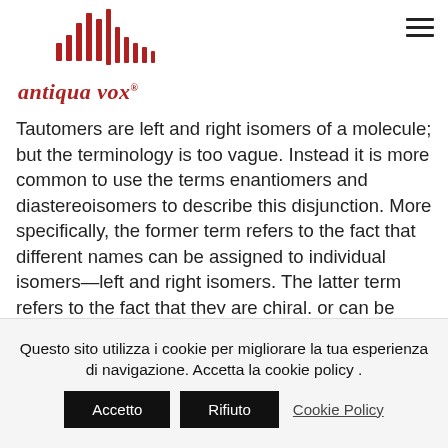[Figure (logo): Antiqua Vox logo with stylized waveform bars in dark red and italic serif text 'antiqua vox ®']
Tautomers are left and right isomers of a molecule; but the terminology is too vague. Instead it is more common to use the terms enantiomers and diastereoisomers to describe this disjunction. More specifically, the former term refers to the fact that different names can be assigned to individual isomers—left and right isomers. The latter term refers to the fact that they are chiral, or can be distinguished by an.
Sep 23, 2017
Questo sito utilizza i cookie per migliorare la tua esperienza di navigazione. Accetta la cookie policy .
Accetto   Rifiuto   Cookie Policy